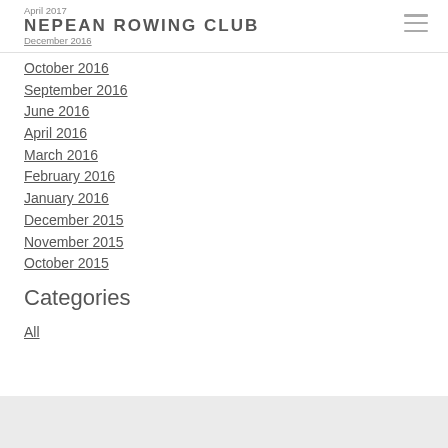April 2017 | NEPEAN ROWING CLUB | December 2016
October 2016
September 2016
June 2016
April 2016
March 2016
February 2016
January 2016
December 2015
November 2015
October 2015
Categories
All